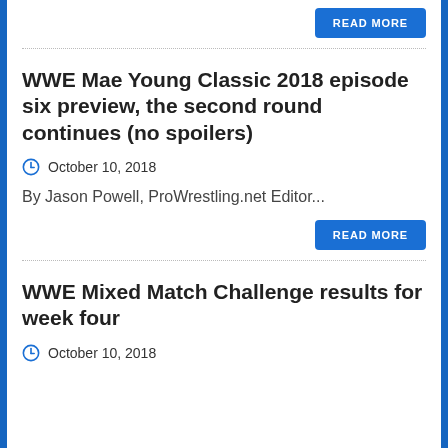(partial text at top, cut off)
READ MORE
WWE Mae Young Classic 2018 episode six preview, the second round continues (no spoilers)
October 10, 2018
By Jason Powell, ProWrestling.net Editor...
READ MORE
WWE Mixed Match Challenge results for week four
October 10, 2018